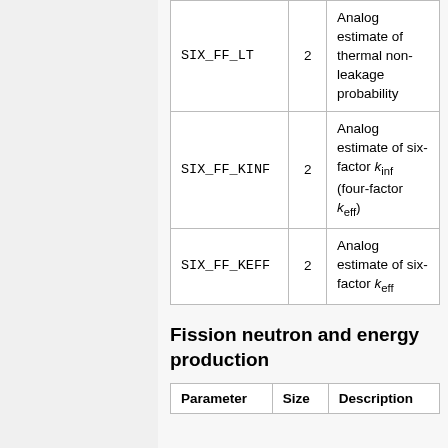| Parameter | Size | Description |
| --- | --- | --- |
| SIX_FF_LT | 2 | Analog estimate of thermal non-leakage probability |
| SIX_FF_KINF | 2 | Analog estimate of six-factor k_inf (four-factor k_eff) |
| SIX_FF_KEFF | 2 | Analog estimate of six-factor k_eff |
Fission neutron and energy production
| Parameter | Size | Description |
| --- | --- | --- |